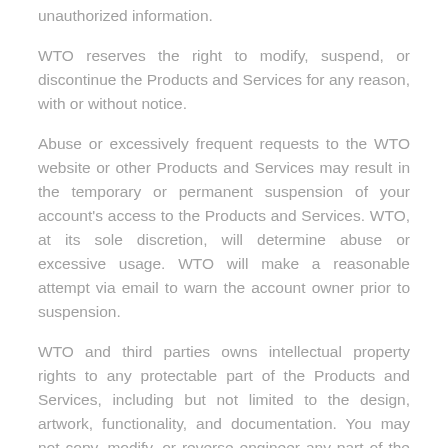unauthorized information.
WTO reserves the right to modify, suspend, or discontinue the Products and Services for any reason, with or without notice.
Abuse or excessively frequent requests to the WTO website or other Products and Services may result in the temporary or permanent suspension of your account's access to the Products and Services. WTO, at its sole discretion, will determine abuse or excessive usage. WTO will make a reasonable attempt via email to warn the account owner prior to suspension.
WTO and third parties owns intellectual property rights to any protectable part of the Products and Services, including but not limited to the design, artwork, functionality, and documentation. You may not copy, modify, or reverse engineer any part of the Products and